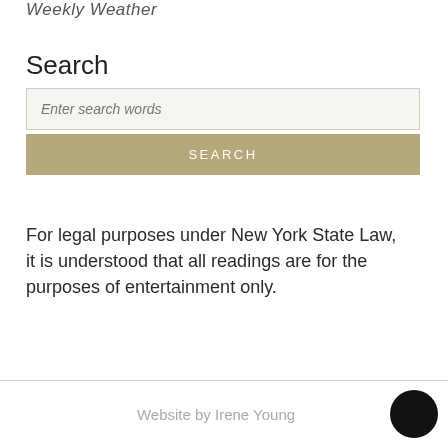Weekly Weather
Search
Enter search words
SEARCH
For legal purposes under New York State Law, it is understood that all readings are for the purposes of entertainment only.
Website by Irene Young